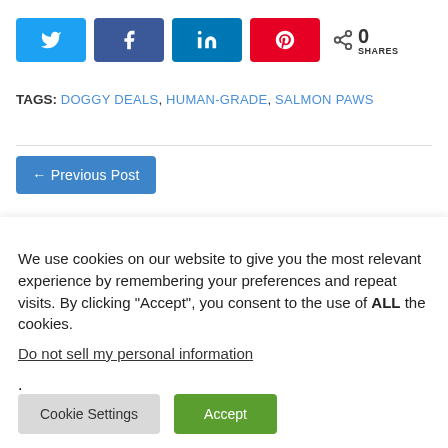[Figure (infographic): Social share buttons row: Twitter (blue), Facebook (blue), LinkedIn (dark blue), Pinterest (red), and a share count showing 0 SHARES]
TAGS: DOGGY DEALS, HUMAN-GRADE, SALMON PAWS
[Figure (other): Partial blue Previous Post button at the bottom of the main content area]
We use cookies on our website to give you the most relevant experience by remembering your preferences and repeat visits. By clicking "Accept", you consent to the use of ALL the cookies.
Do not sell my personal information.
Cookie Settings  Accept